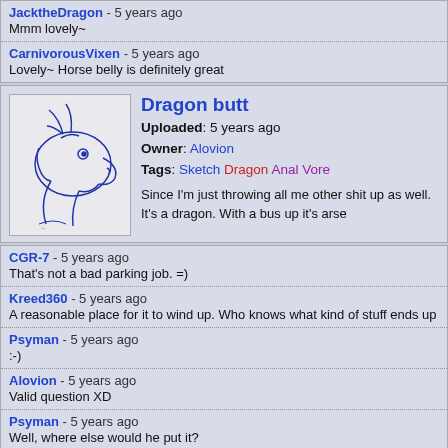JacktheDragon - 5 years ago
Mmm lovely~
CarnivorousVixen - 5 years ago
Lovely~ Horse belly is definitely great
[Figure (illustration): Sketch of a dragon head in blue ink on white background]
Dragon butt
Uploaded: 5 years ago
Owner: Alovion
Tags: Sketch Dragon Anal Vore
Since I'm just throwing all me other shit up as well. It's a dragon. With a bus up it's arse
CGR-7 - 5 years ago
That's not a bad parking job. =)
Kreed360 - 5 years ago
A reasonable place for it to wind up. Who knows what kind of stuff ends up
Psyman - 5 years ago
:-)
Alovion - 5 years ago
Valid question XD
Psyman - 5 years ago
Well, where else would he put it?
[Figure (photo): Partial thumbnail of another artwork at the bottom]